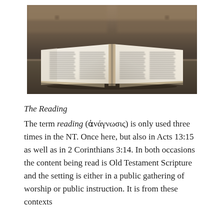[Figure (photo): An open Bible lying on a wooden table, photographed from a slightly elevated angle, with pages spread open showing two columns of text, depth of field blurring the background which shows wooden pews.]
The Reading
The term reading (ἀνάγνωσις) is only used three times in the NT. Once here, but also in Acts 13:15 as well as in 2 Corinthians 3:14. In both occasions the content being read is Old Testament Scripture and the setting is either in a public gathering of worship or public instruction. It is from these contexts